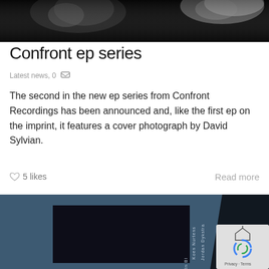[Figure (photo): Black and white photograph, partially cropped, showing what appears to be a face or figure against a dark background.]
Confront ep series
Latest news, 0
The second in the new ep series from Confront Recordings has been announced and, like the first ep on the imprint, it features a cover photograph by David Sylvian.
5 likes
Read more
[Figure (photo): Album or EP cover art showing a dark square image on a blue-grey background. Text on the right side reads 'Jordan Dykstra', 'Koen Nurtens', and partially visible 'In Bl...' Text runs vertically along the right edge area.]